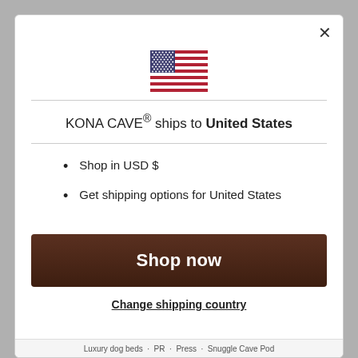[Figure (illustration): US flag SVG illustration]
KONA CAVE® ships to United States
Shop in USD $
Get shipping options for United States
Shop now
Change shipping country
Luxury dog beds · PR · Press · Snuggle Cave Pod